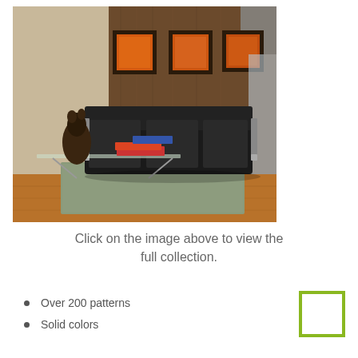[Figure (photo): Interior room photo showing a modern lounge area with a black leather sofa, glass coffee table with books and a dark sculpture, a shag rug, wooden wall panels, three orange-framed artworks on the wall, and wooden flooring.]
Click on the image above to view the full collection.
Over 200 patterns
Solid colors
[Figure (logo): A green outlined square logo (open rectangle) in lime/olive green color.]